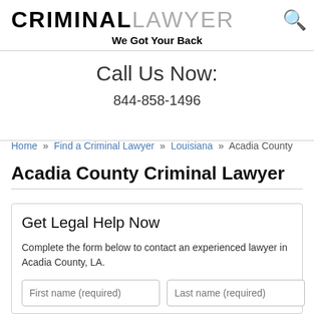CRIMINALLAWYER — We Got Your Back
Call Us Now:
844-858-1496
Home » Find a Criminal Lawyer » Louisiana » Acadia County
Acadia County Criminal Lawyer
Get Legal Help Now
Complete the form below to contact an experienced lawyer in Acadia County, LA.
First name (required)   Last name (required)